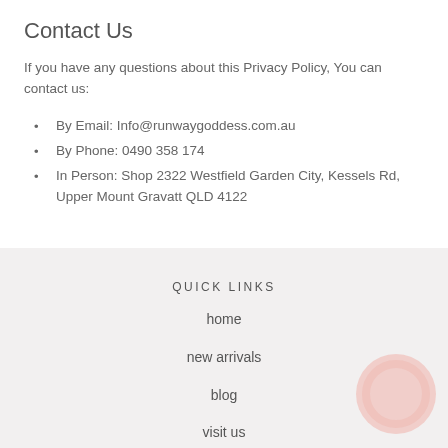Contact Us
If you have any questions about this Privacy Policy, You can contact us:
By Email: Info@runwaygoddess.com.au
By Phone: 0490 358 174
In Person: Shop 2322 Westfield Garden City, Kessels Rd, Upper Mount Gravatt QLD 4122
QUICK LINKS
home
new arrivals
blog
visit us